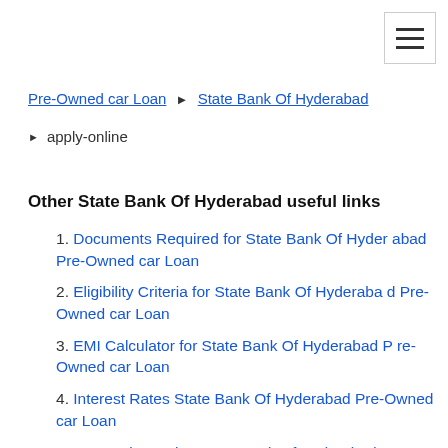Pre-Owned car Loan ▶ State Bank Of Hyderabad ▶ apply-online
Other State Bank Of Hyderabad useful links
Documents Required for State Bank Of Hyderabad Pre-Owned car Loan
Eligibility Criteria for State Bank Of Hyderabad Pre-Owned car Loan
EMI Calculator for State Bank Of Hyderabad Pre-Owned car Loan
Interest Rates State Bank Of Hyderabad Pre-Owned car Loan
Factors impacting State Bank Of Hyderabad Pre-Owned car Loan